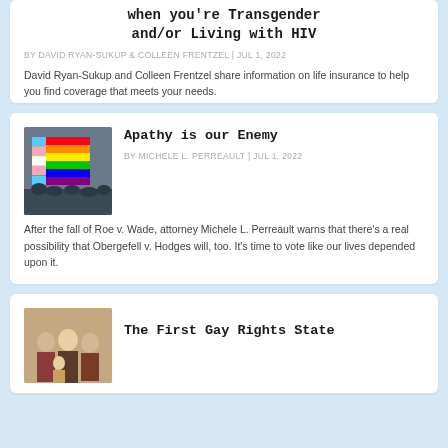when you're Transgender and/or Living with HIV
BY DAVID RYAN-SUKUP & COLLEEN FRENTZEL | JUL 1, 2022
David Ryan-Sukup and Colleen Frentzel share information on life insurance to help you find coverage that meets your needs.
[Figure (photo): Rainbow/pride flag being held at a rally or event]
Apathy is our Enemy
BY MICHELE L. PERREAULT | JUL 1, 2022
After the fall of Roe v. Wade, attorney Michele L. Perreault warns that there's a real possibility that Obergefell v. Hodges will, too. It's time to vote like our lives depended upon it.
[Figure (photo): Group photo, possibly historical, with people in formal attire]
The First Gay Rights State